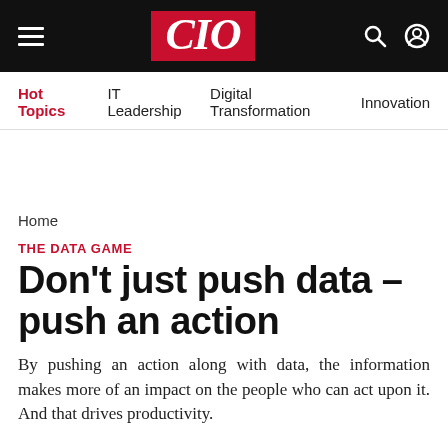CIO
Hot Topics   IT Leadership   Digital Transformation   Innovation
Home
THE DATA GAME
Don't just push data – push an action
By pushing an action along with data, the information makes more of an impact on the people who can act upon it. And that drives productivity.